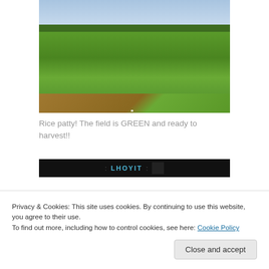[Figure (photo): A rice paddy field. The field is lush green under a partly cloudy sky. Trees line the horizon. A dirt path or embankment is visible in the foreground.]
Rice patty! The field is GREEN and ready to harvest!!
[Figure (photo): Partially visible next image strip with dark background and text including 'LHOYIT' in teal/cyan lettering.]
Privacy & Cookies: This site uses cookies. By continuing to use this website, you agree to their use.
To find out more, including how to control cookies, see here: Cookie Policy